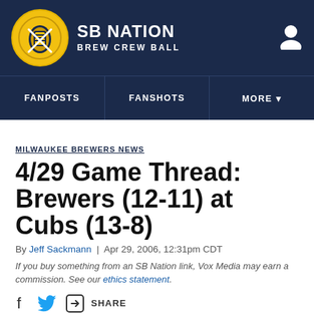SB NATION BREW CREW BALL
FANPOSTS | FANSHOTS | MORE
MILWAUKEE BREWERS NEWS
4/29 Game Thread: Brewers (12-11) at Cubs (13-8)
By Jeff Sackmann | Apr 29, 2006, 12:31pm CDT
If you buy something from an SB Nation link, Vox Media may earn a commission. See our ethics statement.
SHARE
The Brewers seems to have done a darn good job at